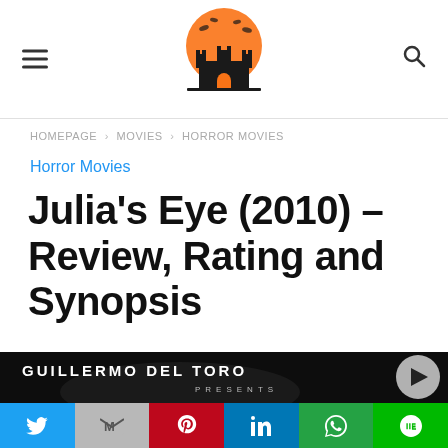Horror movies website header with hamburger menu, logo, and search icon
HOMEPAGE › MOVIES › HORROR MOVIES
Horror Movies
Julia's Eye (2010) – Review, Rating and Synopsis
[Figure (photo): Movie banner showing 'GUILLERMO DEL TORO PRESENTS' text on dark background with play button]
Social sharing bar: Twitter, Gmail, Pinterest, LinkedIn, WhatsApp, Line